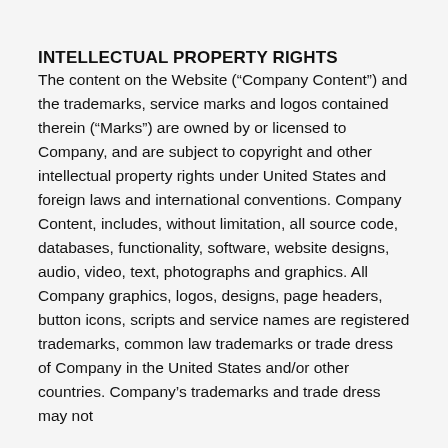INTELLECTUAL PROPERTY RIGHTS
The content on the Website (“Company Content”) and the trademarks, service marks and logos contained therein (“Marks”) are owned by or licensed to Company, and are subject to copyright and other intellectual property rights under United States and foreign laws and international conventions. Company Content, includes, without limitation, all source code, databases, functionality, software, website designs, audio, video, text, photographs and graphics. All Company graphics, logos, designs, page headers, button icons, scripts and service names are registered trademarks, common law trademarks or trade dress of Company in the United States and/or other countries. Company’s trademarks and trade dress may not